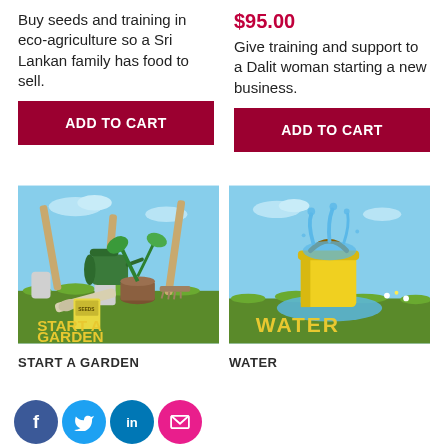Buy seeds and training in eco-agriculture so a Sri Lankan family has food to sell.
$95.00
Give training and support to a Dalit woman starting a new business.
ADD TO CART
ADD TO CART
[Figure (illustration): Illustration of gardening tools (shovels, trowel, watering can), a plant seedling in a pot, and seed packets on a green grassy background. Yellow text reads 'START A GARDEN' at the bottom.]
[Figure (illustration): Illustration of a yellow bucket overflowing with water on a green grassy background. Yellow text reads 'WATER' at the bottom.]
START A GARDEN
WATER